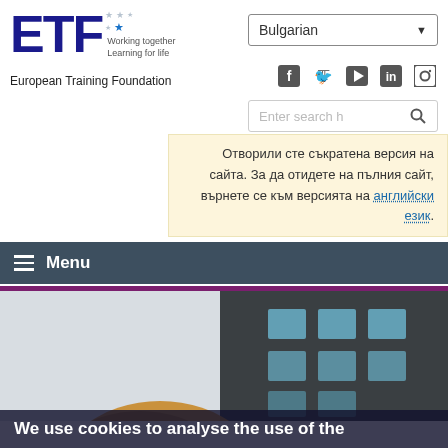[Figure (logo): ETF (European Training Foundation) logo with blue letters ETF, stars, and tagline 'Working together Learning for life']
European Training Foundation
Bulgarian
[Figure (infographic): Social media icons: Facebook, Twitter, YouTube, LinkedIn, Instagram]
Enter search h
Отворили сте съкратена версия на сайта. За да отидете на пълния сайт, върнете се към версията на английски език.
≡ Menu
[Figure (photo): Photo of a dark building facade with windows, and a curved wooden structure in the foreground]
We use cookies to analyse the use of the